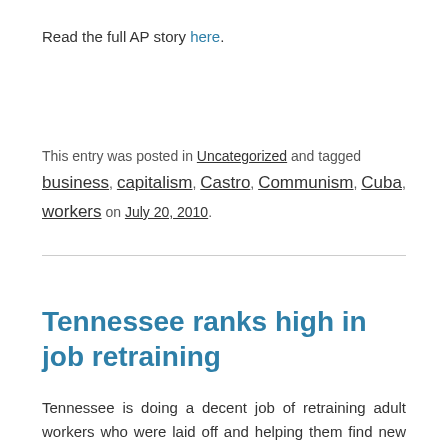Read the full AP story here.
This entry was posted in Uncategorized and tagged business, capitalism, Castro, Communism, Cuba, workers on July 20, 2010.
Tennessee ranks high in job retraining
Tennessee is doing a decent job of retraining adult workers who were laid off and helping them find new jobs.